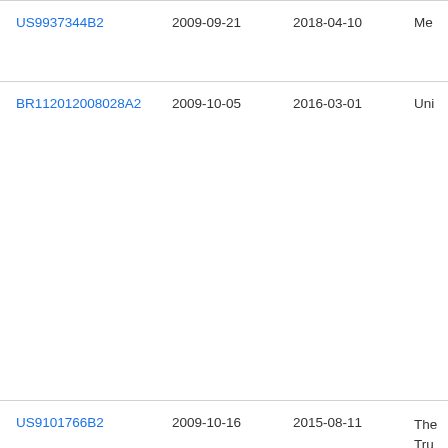| Patent Number | Filing Date | Publication Date | Assignee/Title (truncated) |
| --- | --- | --- | --- |
| US9937344B2 | 2009-09-21 | 2018-04-10 | Me… |
| BR112012008028A2 | 2009-10-05 | 2016-03-01 | Uni… |
| US9101766B2 | 2009-10-16 | 2015-08-11 | The… Tru… Lel… Jun… |
| US20110098777A1 | 2009-10-23 | 2011-04-28 | Sil… M… |
| US20110112394A1 | 2009-11-11 | 2011-05-12 | Mis… J… |